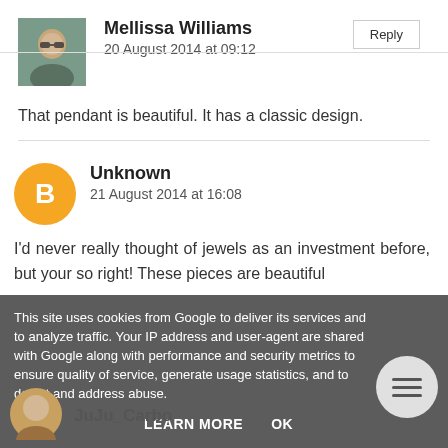Reply
Mellissa Williams
20 August 2014 at 09:12
That pendant is beautiful. It has a classic design.
Unknown
21 August 2014 at 16:08
I'd never really thought of jewels as an investment before, but your so right! These pieces are beautiful
This site uses cookies from Google to deliver its services and to analyze traffic. Your IP address and user-agent are shared with Google along with performance and security metrics to ensure quality of service, generate usage statistics, and to detect and address abuse.
LEARN MORE
OK
JuJu_Carbo